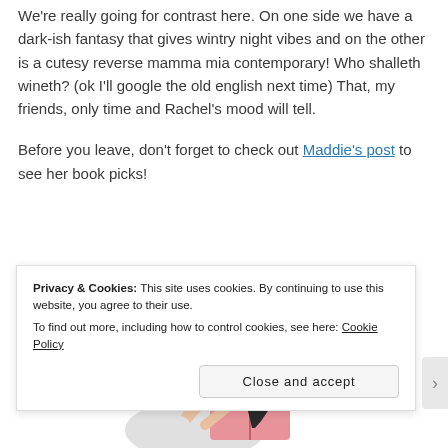We're really going for contrast here. On one side we have a dark-ish fantasy that gives wintry night vibes and on the other is a cutesy reverse mamma mia contemporary! Who shalleth wineth? (ok I'll google the old english next time) That, my friends, only time and Rachel's mood will tell.
Before you leave, don't forget to check out Maddie's post to see her book picks!
[Figure (illustration): Illustration of a person with long dark hair reading a book, seated, partially visible]
Privacy & Cookies: This site uses cookies. By continuing to use this website, you agree to their use. To find out more, including how to control cookies, see here: Cookie Policy
Close and accept